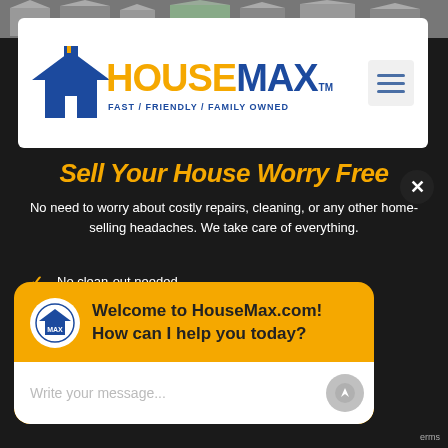[Figure (logo): HouseMax logo with blue house icon, yellow HOUSE text, blue MAX text, tagline FAST / FRIENDLY / FAMILY OWNED]
Sell Your House Worry Free
No need to worry about costly repairs, cleaning, or any other home-selling headaches. We take care of everything.
No clean-out needed
No repairs or updates needed
No [partially hidden]
W[partially hidden]
W[partially hidden]
[Figure (screenshot): Chat popup overlay with orange background, HouseMax MAX icon, message Welcome to HouseMax.com! How can I help you today?, and a text input field Write your message...]